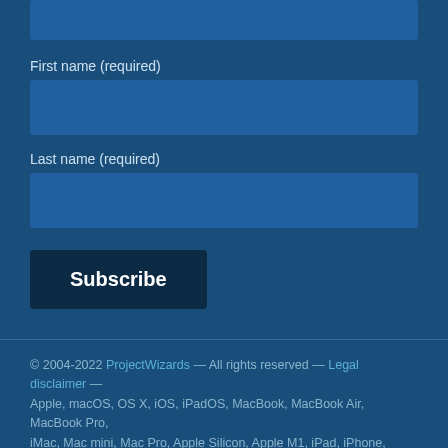First name (required)
Last name (required)
Subscribe
© 2004-2022 ProjectWizards — All rights reserved — Legal disclaimer — Apple, macOS, OS X, iOS, iPadOS, MacBook, MacBook Air, MacBook Pro, iMac, Mac mini, Mac Pro, Apple Silicon, Apple M1, iPad, iPhone, Multi-
By using our website you agree that we use cookies. More information
Agree